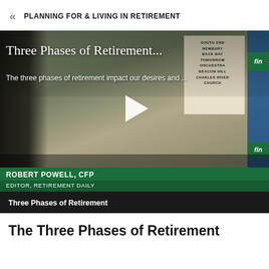« PLANNING FOR & LIVING IN RETIREMENT
[Figure (screenshot): Video thumbnail showing Robert Powell, CFP, editor of Retirement Daily, with title 'Three Phases of Retirement' and subtitle 'The three phases of retirement impact our desires and ...' overlaid on the image, with a play button in the center and a green name banner at the bottom.]
Three Phases of Retirement
The Three Phases of Retirement